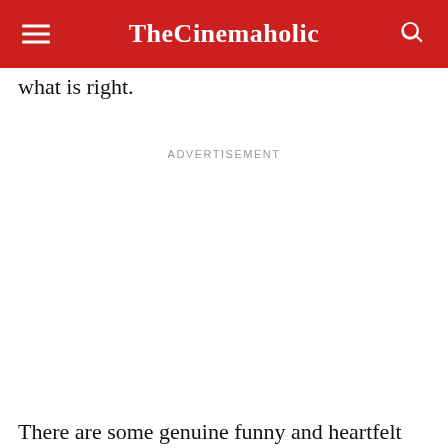TheCinemaholic
what is right.
ADVERTISEMENT
There are some genuine funny and heartfelt